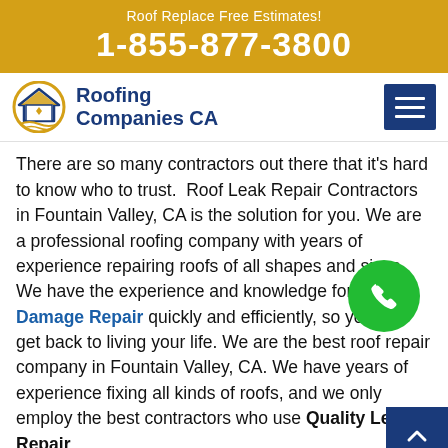Roof Replace Free Estimates!
1-855-877-3800
[Figure (logo): Roofing Companies CA logo with house/roof icon in gold and blue]
There are so many contractors out there that it's hard to know who to trust. Roof Leak Repair Contractors in Fountain Valley, CA is the solution for you. We are a professional roofing company with years of experience repairing roofs of all shapes and sizes. We have the experience and knowledge for Roof Damage Repair quickly and efficiently, so you can get back to living your life. We are the best roof repair company in Fountain Valley, CA. We have years of experience fixing all kinds of roofs, and we only employ the best contractors who use Quality Leak Repair